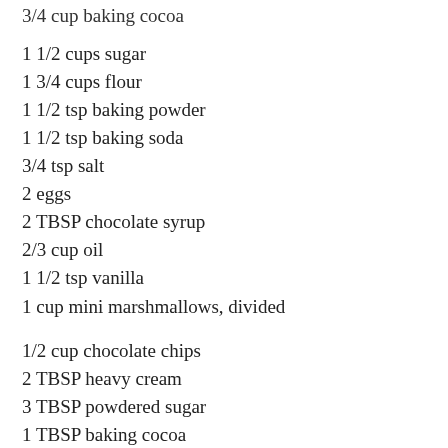3/4 cup baking cocoa
1 1/2 cups sugar
1 3/4 cups flour
1 1/2 tsp baking powder
1 1/2 tsp baking soda
3/4 tsp salt
2 eggs
2 TBSP chocolate syrup
2/3 cup oil
1 1/2 tsp vanilla
1 cup mini marshmallows, divided
1/2 cup chocolate chips
2 TBSP heavy cream
3 TBSP powdered sugar
1 TBSP baking cocoa
1 TBSP milk
Directions: